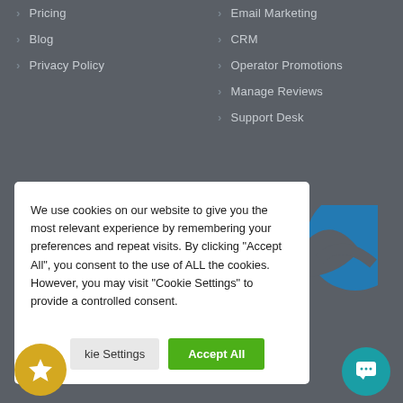Pricing
Blog
Privacy Policy
Email Marketing
CRM
Operator Promotions
Manage Reviews
Support Desk
We use cookies on our website to give you the most relevant experience by remembering your preferences and repeat visits. By clicking "Accept All", you consent to the use of ALL the cookies. However, you may visit "Cookie Settings" to provide a controlled consent.
[Figure (screenshot): Cookie consent modal with 'Cookie Settings' and 'Accept All' buttons, yellow star badge and teal chat badge visible]